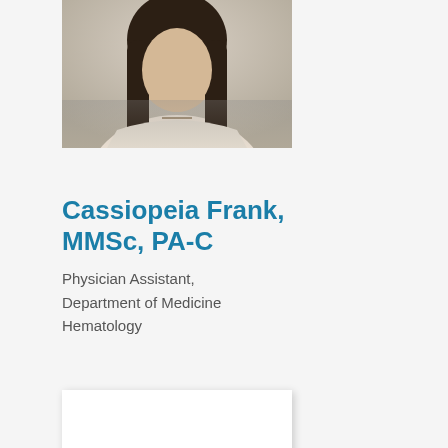[Figure (photo): Headshot photo of Cassiopeia Frank, a woman with long dark hair wearing a light-colored top with a necklace, cropped at top of page]
Cassiopeia Frank, MMSc, PA-C
Physician Assistant, Department of Medicine Hematology
[Figure (photo): Blank white card/placeholder image in lower portion of page]